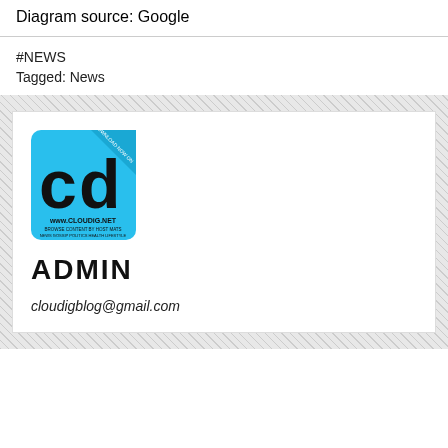Diagram source: Google
#NEWS
Tagged: News
[Figure (logo): CloudDig logo — blue square with 'cd' letters and www.CLOUDiG.NET URL]
ADMIN
cloudigblog@gmail.com